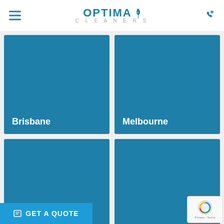OPTIMA CLEANERS
[Figure (other): Brisbane city card - blue background with white text label 'Brisbane']
[Figure (other): Melbourne city card - blue background with white text label 'Melbourne']
[Figure (other): Sydney city card - blue background with white text label 'Sydney']
[Figure (other): Perth city card - blue background with white text label 'Perth']
GET A QUOTE